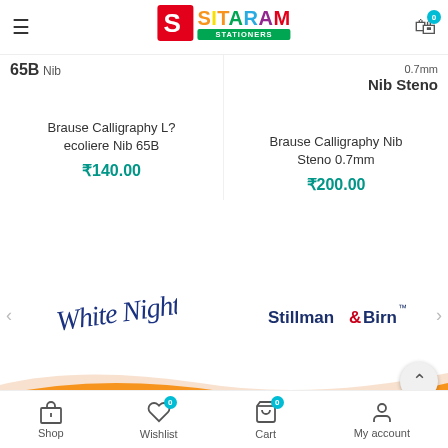[Figure (logo): Sitaram Stationers logo with colorful text and red S icon]
65B Nib
Nib Steno
Brause Calligraphy L?ecoliere Nib 65B
₹140.00
Brause Calligraphy Nib Steno 0.7mm
₹200.00
[Figure (logo): White Nights brand logo in cursive handwriting style]
[Figure (logo): Stillman & Birn brand logo in bold dark blue with red ampersand]
[Figure (illustration): Orange wave decorative footer graphic]
Shop  Wishlist  Cart  My account